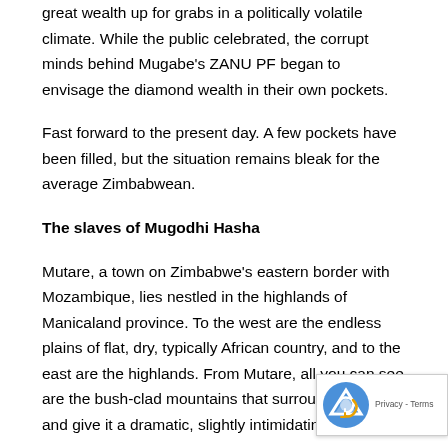great wealth up for grabs in a politically volatile climate. While the public celebrated, the corrupt minds behind Mugabe's ZANU PF began to envisage the diamond wealth in their own pockets.
Fast forward to the present day. A few pockets have been filled, but the situation remains bleak for the average Zimbabwean.
The slaves of Mugodhi Hasha
Mutare, a town on Zimbabwe's eastern border with Mozambique, lies nestled in the highlands of Manicaland province. To the west are the endless plains of flat, dry, typically African country, and to the east are the highlands. From Mutare, all you can see are the bush-clad mountains that surround the town and give it a dramatic, slightly intimidating backdrop.
Despite the natural beauty of the place, it is obvious to outside something's amiss. There's a tension in the air here, stemming the fact that Mutare's residents are frightened of what happens on the